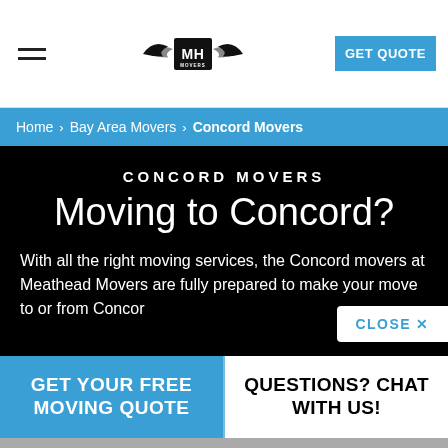[Figure (logo): MH Movers logo with wings, black and white]
GET QUOTE
Home > Bay Area Movers > Concord Movers
CONCORD MOVERS
Moving to Concord?
With all the right moving services, the Concord movers at Meathead Movers are fully prepared to make your move to or from Concord
CLOSE X
GET YOUR FREE MOVING QUOTE
QUESTIONS? CHAT WITH US!